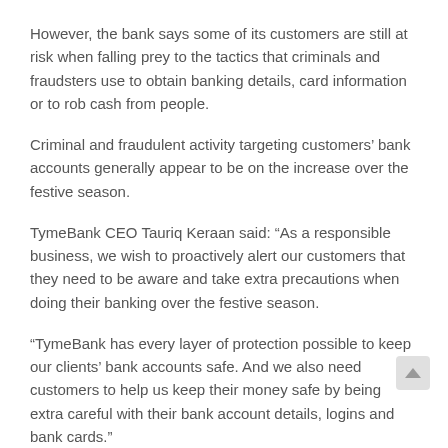However, the bank says some of its customers are still at risk when falling prey to the tactics that criminals and fraudsters use to obtain banking details, card information or to rob cash from people.
Criminal and fraudulent activity targeting customers' bank accounts generally appear to be on the increase over the festive season.
TymeBank CEO Tauriq Keraan said: “As a responsible business, we wish to proactively alert our customers that they need to be aware and take extra precautions when doing their banking over the festive season.
“TymeBank has every layer of protection possible to keep our clients’ bank accounts safe. And we also need customers to help us keep their money safe by being extra careful with their bank account details, logins and bank cards.”
“Criminals are smart, however, and are always looking for new ways to take advantage. Unfortunately, that sees them targeting customers using deceptive means. We all need to be vigilant, cautious and responsible at all times to avoid becoming a victim of criminals and fraudsters.”